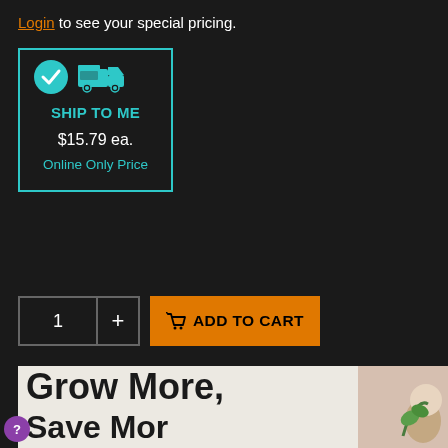Login to see your special pricing.
[Figure (infographic): Dark card with teal border showing a teal checkmark circle and teal truck icon, with bold teal text 'SHIP TO ME', white text '$15.79 ea.', and teal text 'Online Only Price']
[Figure (infographic): Quantity selector box showing '1' and a '+' button, next to an orange 'ADD TO CART' button with a cart icon]
Request a Quote - Bulk Discounts for Large Grow Operations.
[Figure (photo): Light beige background with large bold black text 'Grow More, Save More' partially visible, with a small plant seedling image on the right side]